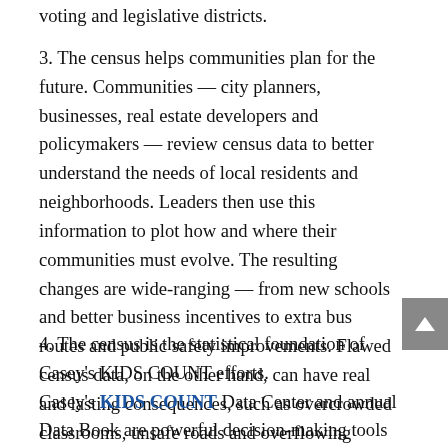voting and legislative districts.
3. The census helps communities plan for the future. Communities — city planners, businesses, real estate developers and policymakers — review census data to better understand the needs of local residents and neighborhoods. Leaders then use this information to plot how and where their communities must evolve. The resulting changes are wide-ranging — from new schools and better business incentives to extra bus routes and public safety improvements. Flawed census data, on the other hand, can have real and lasting consequences, such as overcrowded classrooms, unsafe roads and overflowing emergency rooms.
4. The census is the statistical foundation of Casey's KIDS COUNT efforts.
Casey's KIDS COUNT Data Center and annual Data Book are powerful decision-making tools for